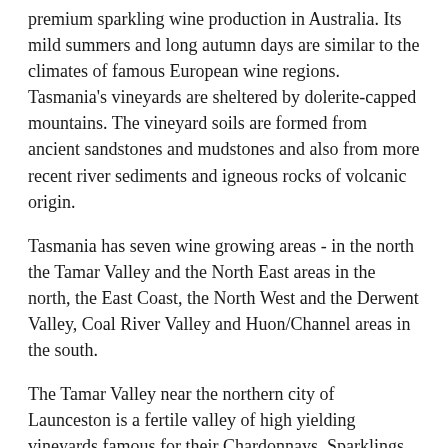premium sparkling wine production in Australia. Its mild summers and long autumn days are similar to the climates of famous European wine regions. Tasmania's vineyards are sheltered by dolerite-capped mountains. The vineyard soils are formed from ancient sandstones and mudstones and also from more recent river sediments and igneous rocks of volcanic origin.
Tasmania has seven wine growing areas - in the north the Tamar Valley and the North East areas in the north, the East Coast, the North West and the Derwent Valley, Coal River Valley and Huon/Channel areas in the south.
The Tamar Valley near the northern city of Launceston is a fertile valley of high yielding vineyards famous for their Chardonnays, Sparklings, aromatic whites and Pinot Noir. Many open welcoming cellar doors for tastings. The valley produces 40 per cent of Tasmania's premium quality wine.
The South Tasmania region comprises the Derwent, Coal River and Huon Valleys - areas that vary in terrain and experiences.
HISTORY